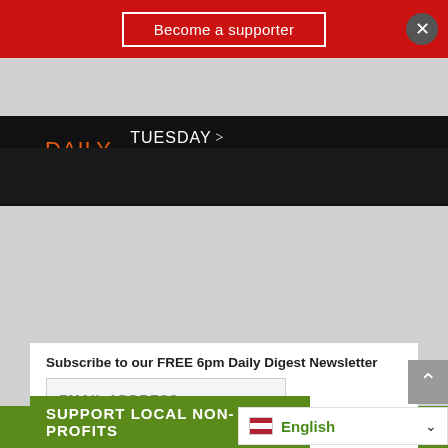[Figure (screenshot): Red banner with 'Become a supporter' button and close X button]
[Figure (screenshot): Uncle Ike's Daily Deals advertisement banner - TUESDAY > $12 Tuesdays | SELECT ITEMS]
[Figure (logo): B·Town Blog logo with 'the' script, 'Since 2007', 'POWERED BY King MEDIA' on green background, with MENU hamburger]
Subscribe to our FREE 6pm Daily Digest Newsletter
EMAIL ADDRESS
SUBSCRIBE
SUPPORT LOCAL NON-PROFITS
English